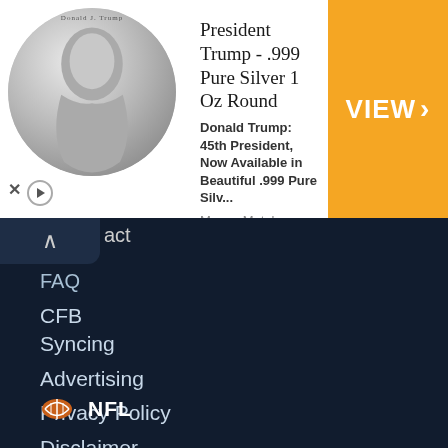[Figure (photo): Advertisement banner for President Trump .999 Pure Silver 1 Oz Round coin from Money Metals Exchange, priced at $23.86, with a VIEW button.]
act
FAQ
Syncing
Advertising
Privacy Policy
Disclaimer
Responsible Gambling Policy
Syndicate Content
RSS Feeds
CFB
NFL